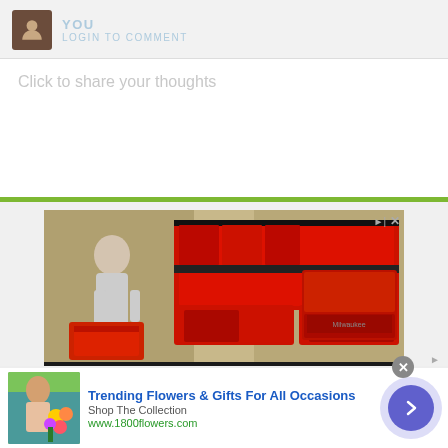YOU
LOGIN TO COMMENT
Click to share your thoughts
[Figure (photo): Advertisement showing Milwaukee PACKOUT shop storage tool wall with red tool boxes and a person browsing. Text at bottom reads 'PACKOUT Shop Storage']
[Figure (photo): Bottom banner ad for 1800flowers.com: 'Trending Flowers & Gifts For All Occasions' with Shop The Collection and www.1800flowers.com, woman with flowers photo on left, blue arrow button on right]